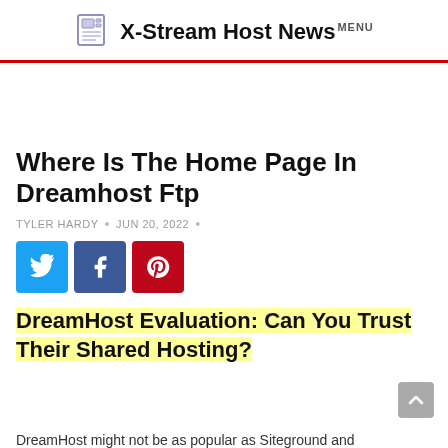X-Stream Host News MENU
Where Is The Home Page In Dreamhost Ftp
TYLER HARDY · JUN 20, 2022 ·
[Figure (other): Social share buttons: Twitter (blue), Facebook (dark blue), Pinterest (red)]
DreamHost Evaluation: Can You Trust Their Shared Hosting?
DreamHost might not be as popular as Siteground and